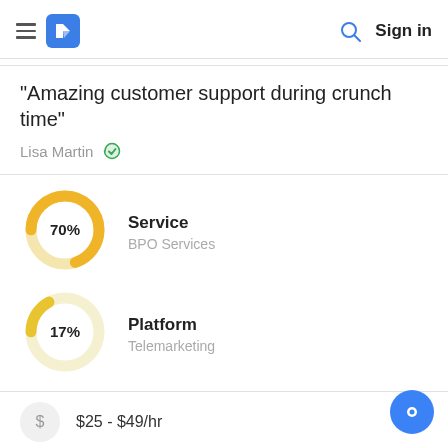Sign in
"Amazing customer support during crunch time"
Lisa Martin (verified)
[Figure (donut-chart): Service - BPO Services]
[Figure (donut-chart): Platform - Telemarketing]
$25 - $49/hr
1,000 - 9,999